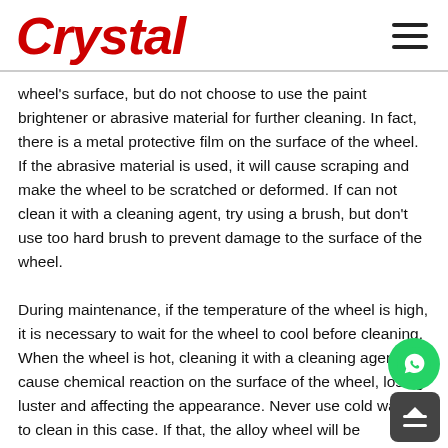Crystal
wheel's surface, but do not choose to use the paint brightener or abrasive material for further cleaning. In fact, there is a metal protective film on the surface of the wheel. If the abrasive material is used, it will cause scraping and make the wheel to be scratched or deformed. If can not clean it with a cleaning agent, try using a brush, but don't use too hard brush to prevent damage to the surface of the wheel.
During maintenance, if the temperature of the wheel is high, it is necessary to wait for the wheel to cool before cleaning. When the wheel is hot, cleaning it with a cleaning agent will cause chemical reaction on the surface of the wheel, losing luster and affecting the appearance. Never use cold water to clean in this case. If that, the alloy wheel will be damaged, more serious case, that will lead to the brake disc deformati…